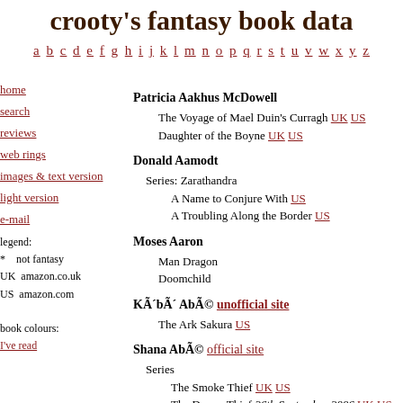crooty's fantasy book data
a b c d e f g h i j k l m n o p q r s t u v w x y z
home
search
reviews
web rings
images & text version
light version
e-mail
legend:
* not fantasy
UK amazon.co.uk
US amazon.com
book colours:
I've read
Patricia Aakhus McDowell
The Voyage of Mael Duin's Curragh UK US
Daughter of the Boyne UK US
Donald Aamodt
Series: Zarathandra
A Name to Conjure With US
A Troubling Along the Border US
Moses Aaron
Man Dragon
Doomchild
KÃbÃ AbÃ© unofficial site
The Ark Sakura US
Shana AbÃ© official site
Series
The Smoke Thief UK US
The Dream Thief 26th September 2006 UK US
? soon...